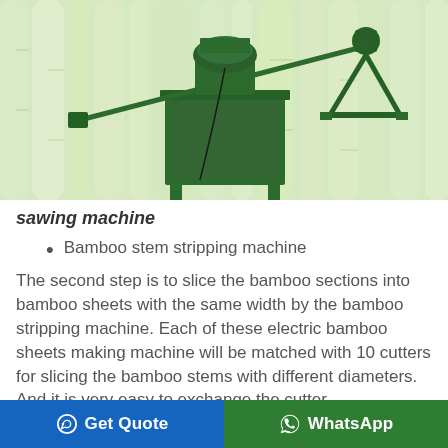[Figure (photo): A green metal bamboo sawing machine on a stand with long blade arm, set against a blurred bamboo forest background.]
sawing machine
Bamboo stem stripping machine
The second step is to slice the bamboo sections into bamboo sheets with the same width by the bamboo stripping machine. Each of these electric bamboo sheets making machine will be matched with 10 cutters for slicing the bamboo stems with different diameters. And it is very easy to exchange the cutter
Get Quote   WhatsApp